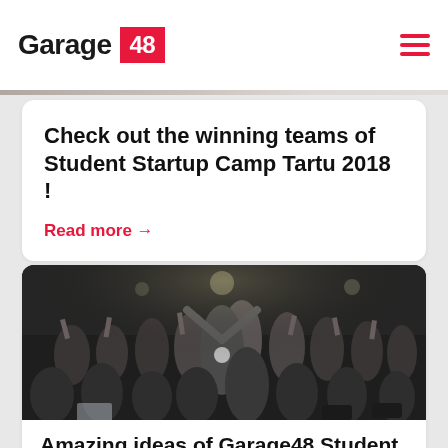Garage 48
[Figure (photo): Faded group photo in hero banner area behind logo header]
Check out the winning teams of Student Startup Camp Tartu 2018 !
Read more →
[Figure (photo): Crowd of students and participants with hands raised celebrating at an indoor event, a presenter standing in the center with arms raised]
Amazing ideas of Garage48 Student Startup